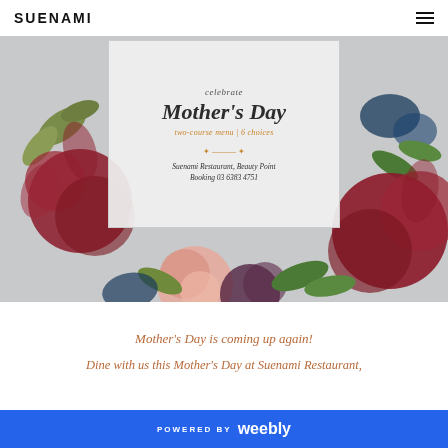SUENAMI
[Figure (illustration): Mother's Day promotional floral image with a card overlay reading: celebrate / Mother's Day / two-course menu | 6 choices / Suenami Restaurant, Beauty Point / Booking 03 6383 4751. Background is a grey floral watercolor arrangement with burgundy, pink, and dark blue flowers.]
Mother's Day is coming up again!
Dine with us this Mother's Day at Suenami Restaurant,
POWERED BY weebly